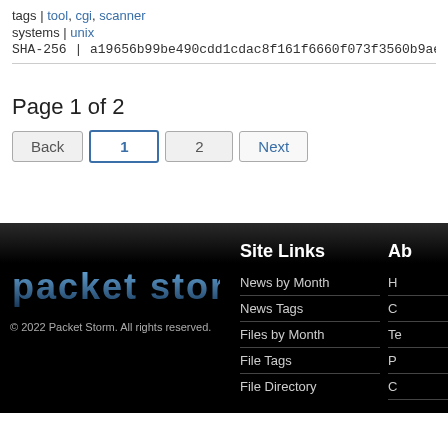tags | tool, cgi, scanner
systems | unix
SHA-256 | a19656b99be490cdd1cdac8f161f6660f073f3560b9ae87285ebd9...
Page 1 of 2
Back 1 2 Next
Site Links
News by Month
News Tags
Files by Month
File Tags
File Directory
Ab
H
C
Te
P
C
[Figure (logo): Packet Storm logo text in blue gradient on black background]
© 2022 Packet Storm. All rights reserved.